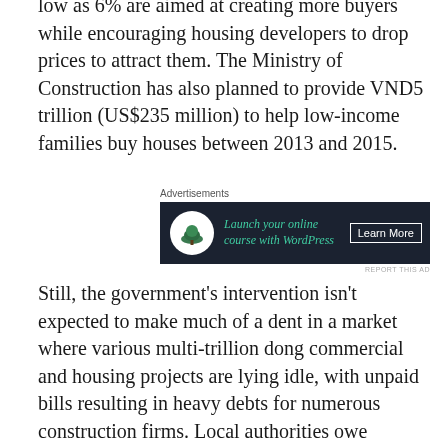low as 6% are aimed at creating more buyers while encouraging housing developers to drop prices to attract them. The Ministry of Construction has also planned to provide VND5 trillion (US$235 million) to help low-income families buy houses between 2013 and 2015.
[Figure (other): Advertisement banner for online course with WordPress. Dark navy background with tree icon in white circle, teal italic text 'Launch your online course with WordPress', and 'Learn More' button.]
Still, the government's intervention isn't expected to make much of a dent in a market where various multi-trillion dong commercial and housing projects are lying idle, with unpaid bills resulting in heavy debts for numerous construction firms. Local authorities owe construction firms VND91 trillion for the works they have completed in many provinces, the government said last month.